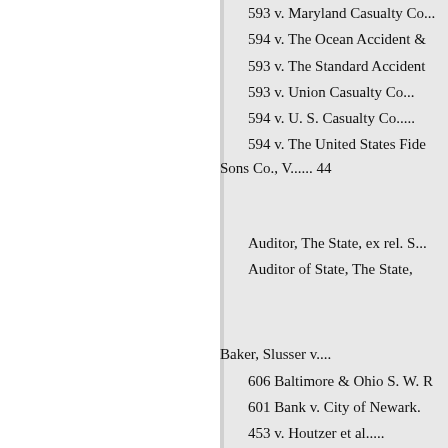593 v. Maryland Casualty Co...
594 v. The Ocean Accident &...
593 v. The Standard Accident...
593 v. Union Casualty Co...
594 v. U. S. Casualty Co.....
594 v. The United States Fide...
Sons Co., V...... 44
Auditor, The State, ex rel. S...
Auditor of State, The State,...
Baker, Slusser v....
606 Baltimore & Ohio S. W. R...
601 Bank v. City of Newark....
453 v. Houtzer et al.....
404 Barbee, Exr. (State, ex re...
Pierce, Auditor... 44 Board of Co...